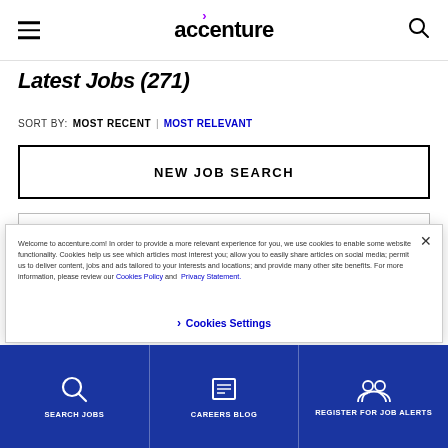accenture
Latest Jobs (271)
SORT BY: MOST RECENT | MOST RELEVANT
NEW JOB SEARCH
Welcome to accenture.com! In order to provide a more relevant experience for you, we use cookies to enable some website functionality. Cookies help us see which articles most interest you; allow you to easily share articles on social media; permit us to deliver content, jobs and ads tailored to your interests and locations; and provide many other site benefits. For more information, please review our Cookies Policy and Privacy Statement.
> Cookies Settings
SEARCH JOBS
CAREERS BLOG
REGISTER FOR JOB ALERTS